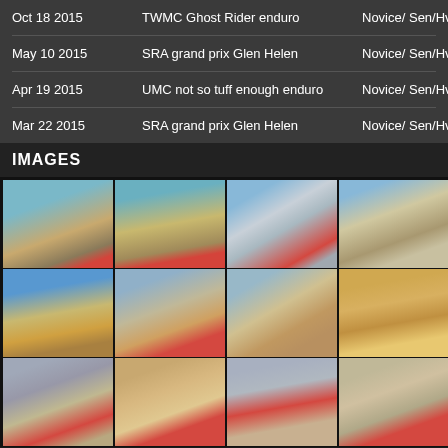| Date | Event | Class |
| --- | --- | --- |
| Oct 18 2015 | TWMC Ghost Rider enduro | Novice/ Sen/Hv |
| May 10 2015 | SRA grand prix Glen Helen | Novice/ Sen/Hv |
| Apr 19 2015 | UMC not so tuff enough enduro | Novice/ Sen/Hv |
| Mar 22 2015 | SRA grand prix Glen Helen | Novice/ Sen/Hv |
IMAGES
[Figure (photo): Grid of 12 motocross/dirt bike racing photos showing riders on various off-road terrain]
[Figure (photo): Motocross rider on sandy terrain]
[Figure (photo): Motocross rider on sandy hill]
[Figure (photo): Motocross bike on rocky white terrain]
[Figure (photo): Motocross rider on dirt track]
[Figure (photo): Motocross rider on sandy hill slope]
[Figure (photo): Motocross rider descending sandy hill]
[Figure (photo): Motocross rider on sandy terrain]
[Figure (photo): Sandy hill landscape]
[Figure (photo): Motocross rider on dirt track with trees]
[Figure (photo): Motocross rider on sandy terrain]
[Figure (photo): Motocross rider on sandy terrain]
[Figure (photo): Motocross rider near orange cone]